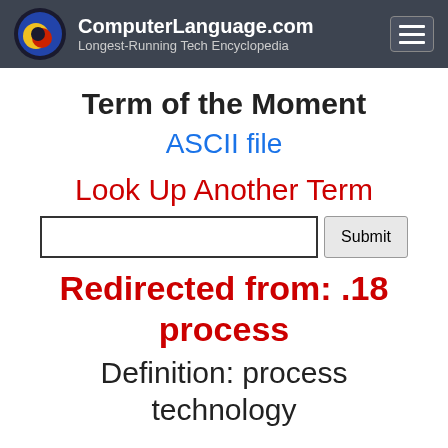ComputerLanguage.com Longest-Running Tech Encyclopedia
Term of the Moment
ASCII file
Look Up Another Term
Redirected from: .18 process
Definition: process technology